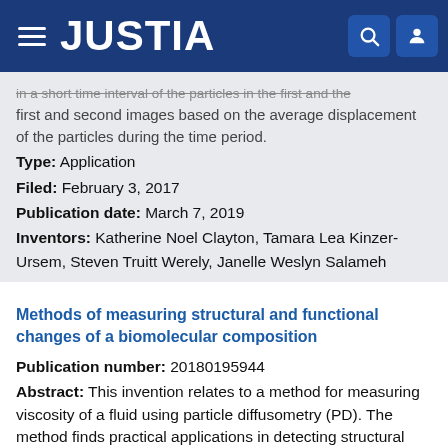JUSTIA
...in a short time interval of the particles in the first and the first and second images based on the average displacement of the particles during the time period.
Type: Application
Filed: February 3, 2017
Publication date: March 7, 2019
Inventors: Katherine Noel Clayton, Tamara Lea Kinzer-Ursem, Steven Truitt Werely, Janelle Weslyn Salameh
Methods of measuring structural and functional changes of a biomolecular composition
Publication number: 20180195944
Abstract: This invention relates to a method for measuring viscosity of a fluid using particle diffusometry (PD). The method finds practical applications in detecting structural and functional changes of a biomolecular composition by comparing the viscosity